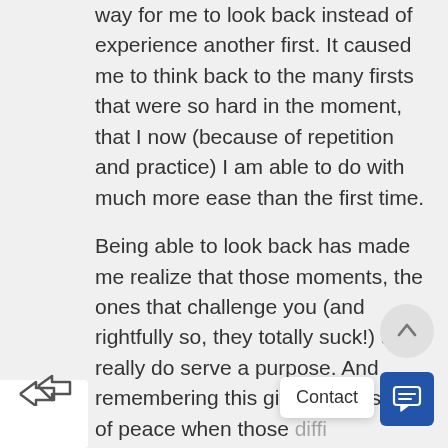way for me to look back instead of experience another first. It caused me to think back to the many firsts that were so hard in the moment, that I now (because of repetition and practice) I am able to do with much more ease than the first time.
Being able to look back has made me realize that those moments, the ones that challenge you (and rightfully so, they totally suck!) all really do serve a purpose. And remembering this gives me a sense of peace when those difficult moments reappear with a new